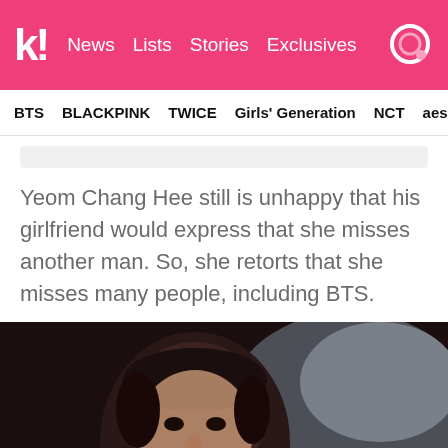k! News Lists Stories Exclusives
BTS BLACKPINK TWICE Girls' Generation NCT aespa
Yeom Chang Hee still is unhappy that his girlfriend would express that she misses another man. So, she retorts that she misses many people, including BTS.
[Figure (photo): Close-up photo of a young man's face, dimly lit with dark background]